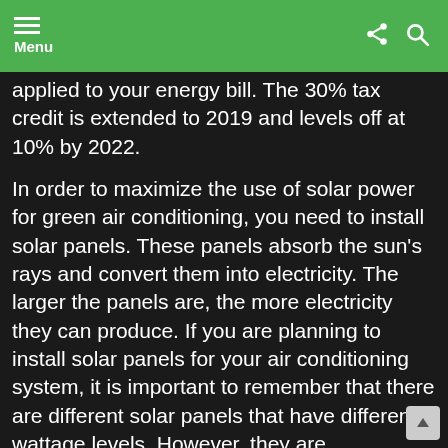Menu
applied to your energy bill. The 30% tax credit is extended to 2019 and levels off at 10% by 2022.
In order to maximize the use of solar power for green air conditioning, you need to install solar panels. These panels absorb the sun's rays and convert them into electricity. The larger the panels are, the more electricity they can produce. If you are planning to install solar panels for your air conditioning system, it is important to remember that there are different solar panels that have different wattage levels. However, they are